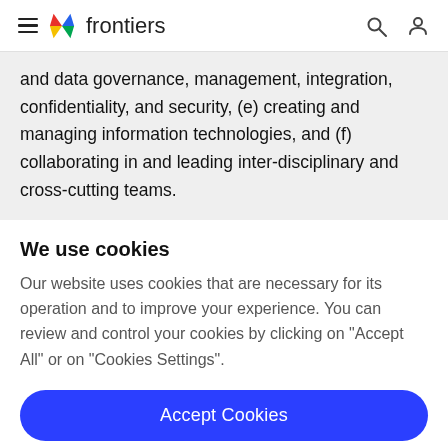frontiers
and data governance, management, integration, confidentiality, and security, (e) creating and managing information technologies, and (f) collaborating in and leading inter-disciplinary and cross-cutting teams.
We use cookies
Our website uses cookies that are necessary for its operation and to improve your experience. You can review and control your cookies by clicking on "Accept All" or on "Cookies Settings".
Accept Cookies
Cookies Settings